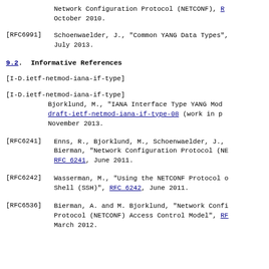Network Configuration Protocol (NETCONF), RFC [link], October 2010.
[RFC6991] Schoenwaelder, J., "Common YANG Data Types", [link], July 2013.
9.2. Informative References
[I-D.ietf-netmod-iana-if-type] Bjorklund, M., "IANA Interface Type YANG Module", draft-ietf-netmod-iana-if-type-08 (work in progress), November 2013.
[RFC6241] Enns, R., Bjorklund, M., Schoenwaelder, J., Bierman, "Network Configuration Protocol (NETCONF)", RFC 6241, June 2011.
[RFC6242] Wasserman, M., "Using the NETCONF Protocol over Secure Shell (SSH)", RFC 6242, June 2011.
[RFC6536] Bierman, A. and M. Bjorklund, "Network Configuration Protocol (NETCONF) Access Control Model", RFC [link], March 2012.